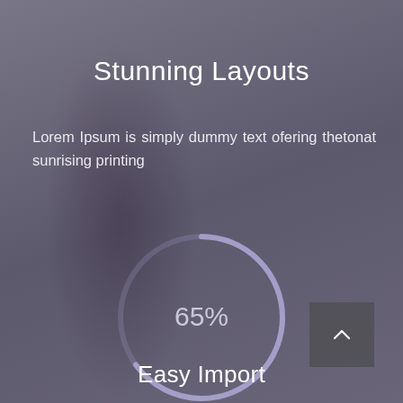Stunning Layouts
Lorem Ipsum is simply dummy text ofering thetonat sunrising printing
[Figure (donut-chart): 65%]
Easy Import